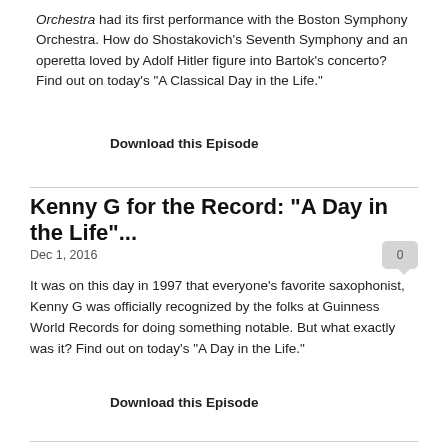Orchestra had its first performance with the Boston Symphony Orchestra. How do Shostakovich's Seventh Symphony and an operetta loved by Adolf Hitler figure into Bartok's concerto? Find out on today's "A Classical Day in the Life."
Download this Episode
Kenny G for the Record: "A Day in the Life"...
Dec 1, 2016
It was on this day in 1997 that everyone's favorite saxophonist, Kenny G was officially recognized by the folks at Guinness World Records for doing something notable. But what exactly was it? Find out on today's "A Day in the Life."
Download this Episode